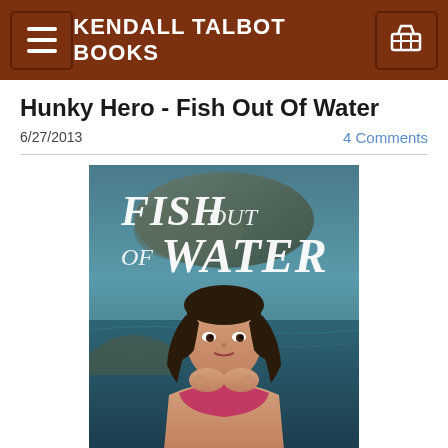KENDALL TALBOT BOOKS
Hunky Hero - Fish Out Of Water
6/27/2013
4 Comments
[Figure (illustration): Book cover for 'Fish Out of Water' showing a young woman with long dark hair in a pink top, hands clasped near her chin, standing in water. Background shows a rocky coastal scene with water. Title text 'FISH OUT OF WATER' in large italic letters at top.]